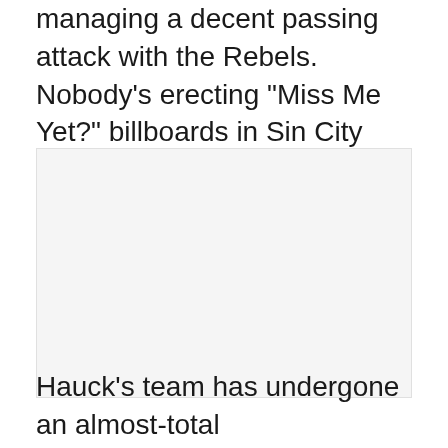managing a decent passing attack with the Rebels. Nobody's erecting "Miss Me Yet?" billboards in Sin City with Sanford's smiling face; but neither is second-year coach Bobby Hauck being whispered as a candidate for mayor.
[Figure (photo): A photograph or image placeholder (appears blank/white in the scan)]
Hauck's team has undergone an almost-total metamorphosis, and the first positive results show